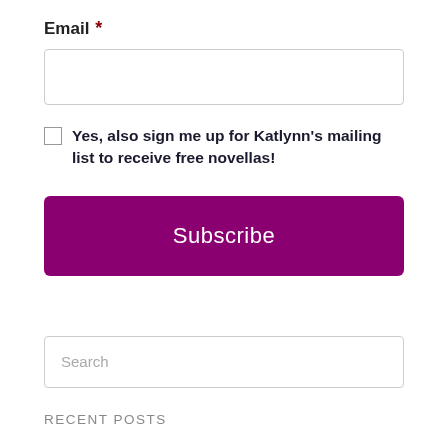Email *
Yes, also sign me up for Katlynn's mailing list to receive free novellas!
Subscribe
Search
Recent Posts
Tea, Scones, and Malaria – A memoir of growing up in Africa